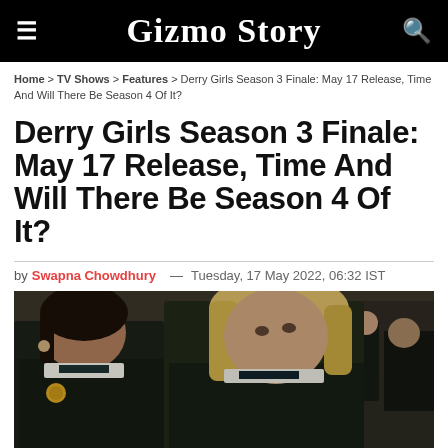Gizmo Story
Home > TV Shows > Features > Derry Girls Season 3 Finale: May 17 Release, Time And Will There Be Season 4 Of It?
Derry Girls Season 3 Finale: May 17 Release, Time And Will There Be Season 4 Of It?
by Swapna Chowdhury — Tuesday, 17 May 2022, 06:32 IST
[Figure (photo): Two young women in dark school uniforms (Derry Girls cast), one brunette on the left looking sideways, one blonde in the foreground looking up, in a school hallway setting with other students in background]